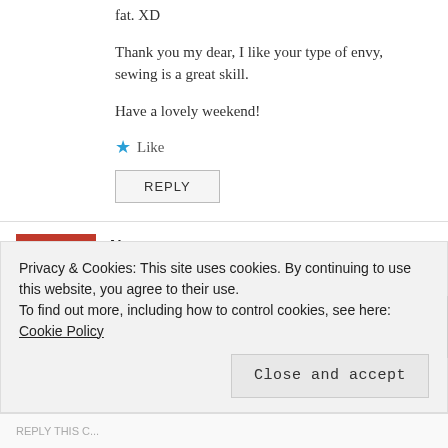fat. XD
Thank you my dear, I like your type of envy, sewing is a great skill.
Have a lovely weekend!
★ Like
REPLY
Nwunye
September 24, 2015 at 13:10
Privacy & Cookies: This site uses cookies. By continuing to use this website, you agree to their use.
To find out more, including how to control cookies, see here: Cookie Policy
Close and accept